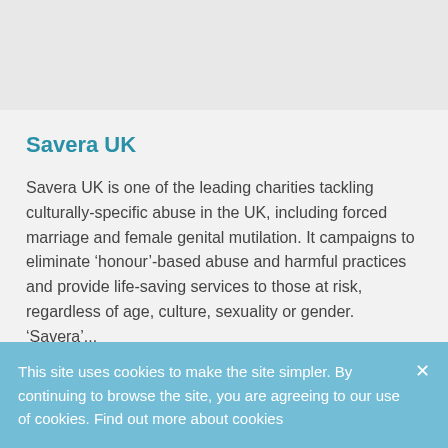Savera UK
Savera UK is one of the leading charities tackling culturally-specific abuse in the UK, including forced marriage and female genital mutilation. It campaigns to eliminate ‘honour’-based abuse and harmful practices and provide life-saving services to those at risk, regardless of age, culture, sexuality or gender.  ‘Savera’...
This site uses cookies to make the site simpler. By continuing to browse the site, you are agreeing to our use of cookies. Find out more about cookies